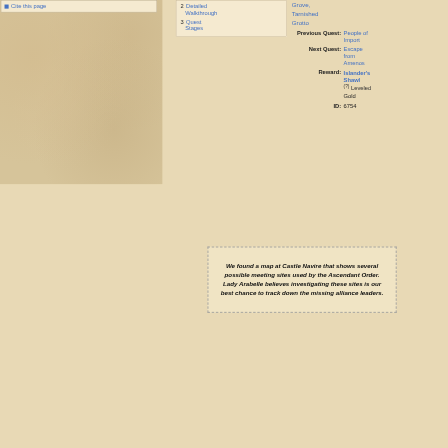Cite this page
2 Detailed Walkthrough
3 Quest Stages
Grove, Tarnished Grotto
Previous Quest: People of Import
Next Quest: Escape from Amenos
Reward: Islander's Shawl (?) Leveled Gold
ID: 6754
We found a map at Castle Navire that shows several possible meeting sites used by the Ascendant Order. Lady Arabelle believes investigating these sites is our best chance to track down the missing alliance leaders.